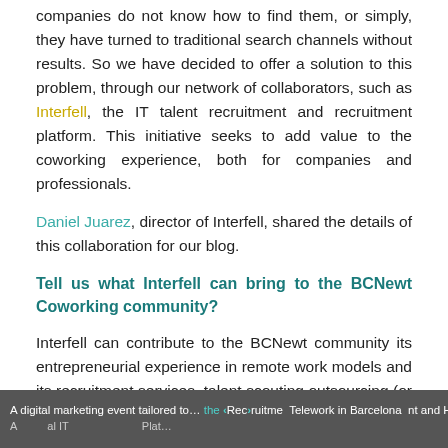companies do not know how to find them, or simply, they have turned to traditional search channels without results. So we have decided to offer a solution to this problem, through our network of collaborators, such as Interfell, the IT talent recruitment and recruitment platform. This initiative seeks to add value to the coworking experience, both for companies and professionals.
Daniel Juarez, director of Interfell, shared the details of this collaboration for our blog.
Tell us what Interfell can bring to the BCNewt Coworking community?
Interfell can contribute to the BCNewt community its entrepreneurial experience in remote work models and its recruitment services, talent scouting outsourcing (or staffing) as providers of technology and marketing talents.
Can you give us more details about Interfell services?
A digital marketing event tailored to... the Recruitment Telework in Barcelona nt and HR